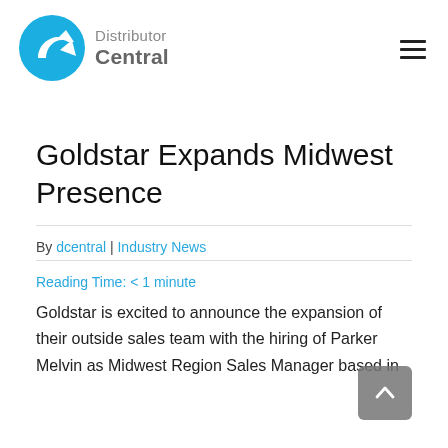[Figure (logo): Distributor Central logo with blue circular arrow icon and text 'Distributor Central']
Goldstar Expands Midwest Presence
By dcentral | Industry News
Reading Time: < 1 minute
Goldstar is excited to announce the expansion of their outside sales team with the hiring of Parker Melvin as Midwest Region Sales Manager based in